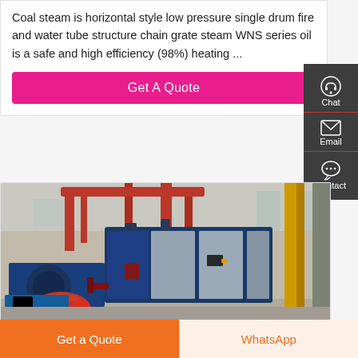Coal steam is horizontal style low pressure single drum fire and water tube structure chain grate steam WNS series oil is a safe and high efficiency (98%) heating ...
Get A Quote
[Figure (photo): Industrial boiler equipment in a factory setting — a large blue and silver rectangular boiler unit with red piping overhead and a red burner component in the foreground.]
Chat
Email
Contact
Get a Quote
WhatsApp